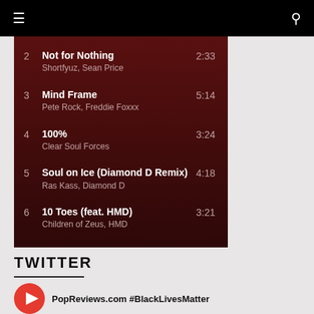≡  🔍
2  Not for Nothing  2:33
Shortfyuz, Sean Price
3  Mind Frame  5:14
Pete Rock, Freddie Foxxx
4  100%  3:24
Clear Soul Forces
5  Soul on Ice (Diamond D Remix)  4:18
Ras Kass, Diamond D
6  10 Toes (feat. HMD)  3:21
Children of Zeus, HMD
TWITTER
PopReviews.com #BlackLivesMatter